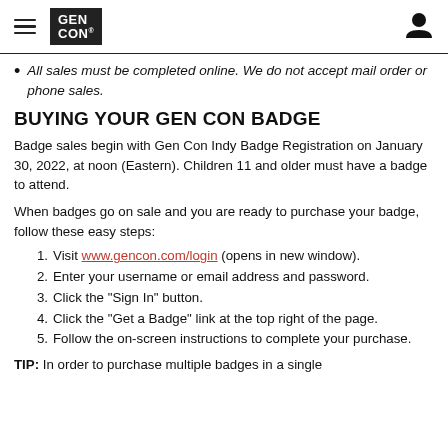GEN CON [logo] [hamburger menu] [user icon]
All sales must be completed online. We do not accept mail order or phone sales.
BUYING YOUR GEN CON BADGE
Badge sales begin with Gen Con Indy Badge Registration on January 30, 2022, at noon (Eastern). Children 11 and older must have a badge to attend.
When badges go on sale and you are ready to purchase your badge, follow these easy steps:
1. Visit www.gencon.com/login (opens in new window).
2. Enter your username or email address and password.
3. Click the "Sign In" button.
4. Click the "Get a Badge" link at the top right of the page.
5. Follow the on-screen instructions to complete your purchase.
TIP: In order to purchase multiple badges in a single transaction you will need to first add one of each...